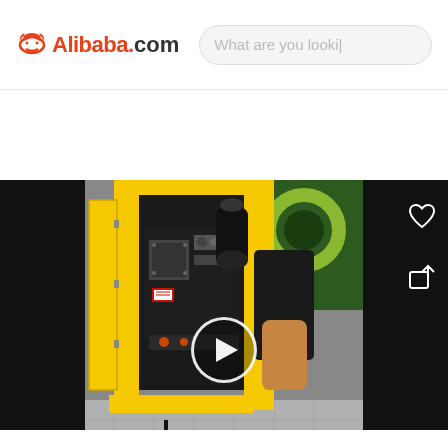[Figure (screenshot): Alibaba.com mobile app header with logo and search bar]
[Figure (photo): Video thumbnail showing a yellow industrial fire cabinet with engine/pump mechanism visible inside, person operating equipment. Video play button overlaid in center.]